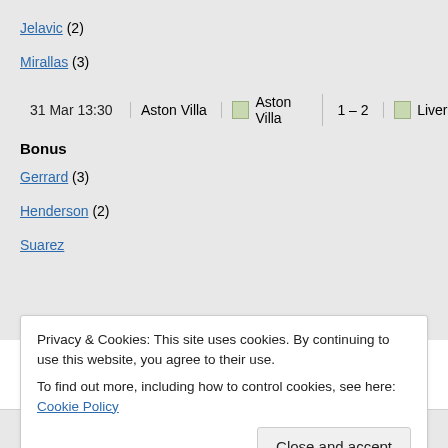Jelavic (2)
Mirallas (3)
31 Mar 13:30  Aston Villa  [Aston Villa badge]  1 – 2  [Liverpool badge]
Bonus
Gerrard (3)
Henderson (2)
Suarez
Privacy & Cookies: This site uses cookies. By continuing to use this website, you agree to their use.
To find out more, including how to control cookies, see here: Cookie Policy
Close and accept
Berbatov (3)